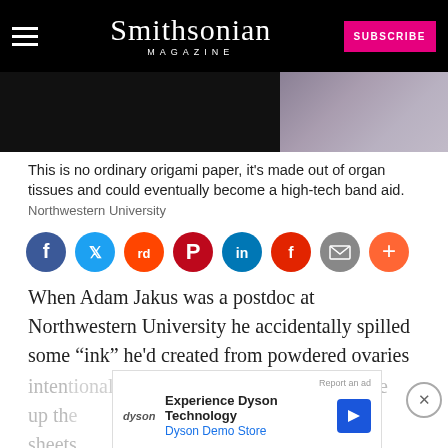Smithsonian MAGAZINE
[Figure (photo): Close-up photo of origami-like paper made from organ tissue, shown against a dark background with purple/lavender coloring visible]
This is no ordinary origami paper, it’s made out of organ tissues and could eventually become a high-tech band aid. Northwestern University
[Figure (infographic): Row of social media sharing icons: Facebook (dark blue), Twitter (light blue), Reddit (orange), Pinterest (red), LinkedIn (blue), Flipboard (red), Email (gray), Plus/More (orange)]
When Adam Jakus was a postdoc at Northwestern University he accidentally spilled some “ink” he’d created from powdered ovaries
inten... he
up th... like
sheets... That